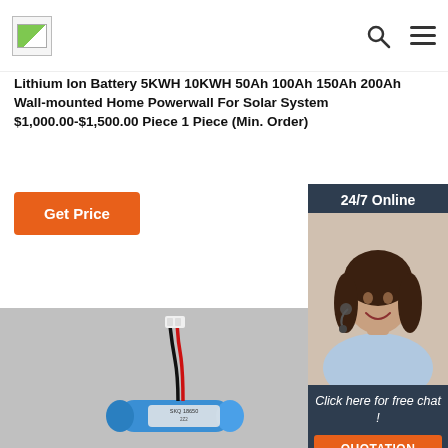[logo] [search icon] [menu icon]
Lithium Ion Battery 5KWH 10KWH 50Ah 100Ah 150Ah 200Ah Wall-mounted Home Powerwall For Solar System $1,000.00-$1,500.00 Piece 1 Piece (Min. Order)
[Figure (screenshot): Orange 'Get Price' button]
[Figure (photo): 24/7 Online chat widget with a woman wearing a headset, 'Click here for free chat!' text, and a QUOTATION button]
[Figure (photo): Product photo of a small cylindrical lithium ion battery (blue, labeled SKQ 18650) with red and black wires and a white connector, on a gray background]